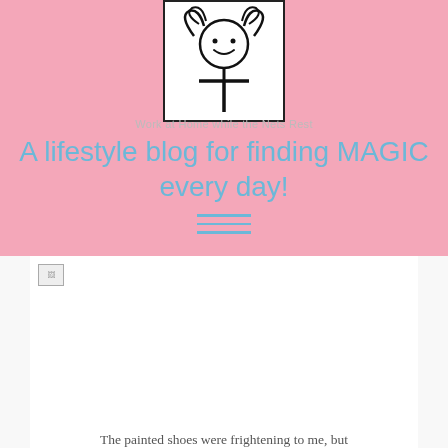[Figure (logo): Blog logo: cartoon girl face with pigtails above a cross/T shape, inside a white bordered rectangle on pink background]
Work at Home while the Nets Rest
A lifestyle blog for finding MAGIC every day!
[Figure (other): Hamburger menu icon: three horizontal blue lines]
[Figure (photo): Large white rectangular content area (image placeholder for painted shoes article)]
The painted shoes were frightening to me, but